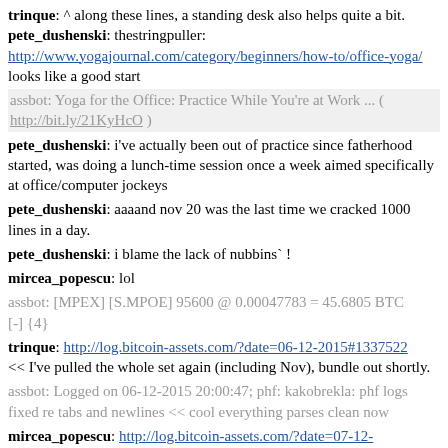trinque: ^ along these lines, a standing desk also helps quite a bit.
pete_dushenski: thestringpuller: http://www.yogajournal.com/category/beginners/how-to/office-yoga/ looks like a good start
assbot: Yoga for the Office: Practice While You're at Work ... ( http://bit.ly/21KyHcO )
pete_dushenski: i've actually been out of practice since fatherhood started, was doing a lunch-time session once a week aimed specifically at office/computer jockeys
pete_dushenski: aaaand nov 20 was the last time we cracked 1000 lines in a day.
pete_dushenski: i blame the lack of nubbins` !
mircea_popescu: lol
assbot: [MPEX] [S.MPOE] 95600 @ 0.00047783 = 45.6805 BTC [-] {4}
trinque: http://log.bitcoin-assets.com/?date=06-12-2015#1337522 << I've pulled the whole set again (including Nov), bundle out shortly.
assbot: Logged on 06-12-2015 20:00:47; phf: kakobrekla: phf logs fixed re tabs and newlines << cool everything parses clean now
mircea_popescu: http://log.bitcoin-assets.com/?date=07-12-2015#1338056 << notrly. all things being equal, it's much better for kids to grow up in squalour than in "reasonable" conditions.
assbot: Logged on 07-12-2015 17:22:23; nubbins`: "but won't kids born to addict parents be fucked from the start and stay that way